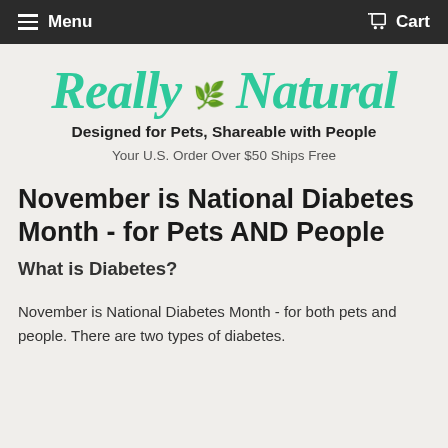Menu   Cart
[Figure (logo): Really Natural logo in teal italic script with a small purple plant/lavender illustration between the words, and tagline 'Designed for Pets, Shareable with People']
Your U.S. Order Over $50 Ships Free
November is National Diabetes Month - for Pets AND People
What is Diabetes?
November is National Diabetes Month - for both pets and people. There are two types of diabetes.